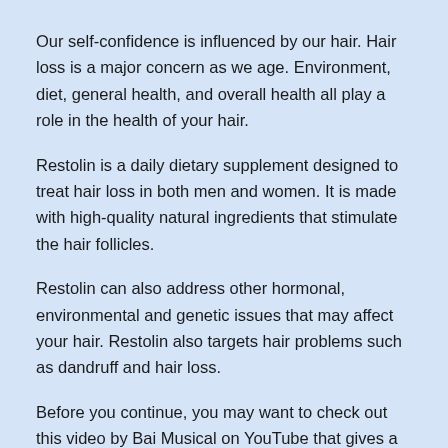Our self-confidence is influenced by our hair. Hair loss is a major concern as we age. Environment, diet, general health, and overall health all play a role in the health of your hair.
Restolin is a daily dietary supplement designed to treat hair loss in both men and women. It is made with high-quality natural ingredients that stimulate the hair follicles.
Restolin can also address other hormonal, environmental and genetic issues that may affect your hair. Restolin also targets hair problems such as dandruff and hair loss.
Before you continue, you may want to check out this video by Bai Musical on YouTube that gives a quick overview. In this review, we'll look at how Restolin works, the ingredients, benefits, how to use it, and more.